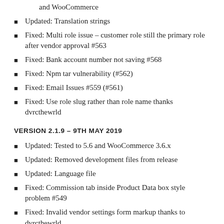and WooCommerce
Updated: Translation strings
Fixed: Multi role issue – customer role still the primary role after vendor approval #563
Fixed: Bank account number not saving #568
Fixed: Npm tar vulnerability (#562)
Fixed: Email Issues #559 (#561)
Fixed: Use role slug rather than role name thanks dvrcthewrld
VERSION 2.1.9 – 9TH MAY 2019
Updated: Tested to 5.6 and WooCommerce 3.6.x
Updated: Removed development files from release
Updated: Language file
Fixed: Commission tab inside Product Data box style problem #549
Fixed: Invalid vendor settings form markup thanks to dvrcthewrld